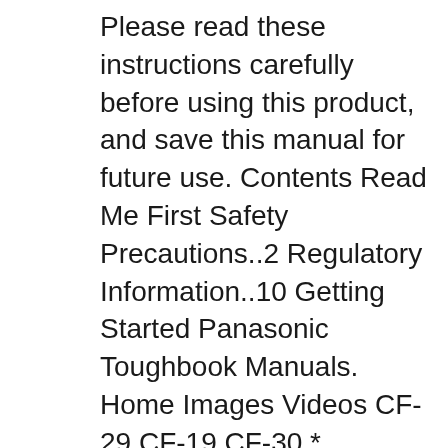Please read these instructions carefully before using this product, and save this manual for future use. Contents Read Me First Safety Precautions..2 Regulatory Information..10 Getting Started Panasonic Toughbook Manuals. Home Images Videos CF-29 CF-19 CF-30 * CHROME Toughbook CF-30 Details Buying Toughbooks On-Sale Parts UH-60 Black Hawk History Back-lit Keyboards Invoice Why Black Hawk Invoice eMail Nature WWP Software Intel Chips Support Drivers Toughbook Specs GoogleCheckout Quality Control Feedback Black Hawk Toughbooks Future Manuals GPS Careers. вђ¦
1.866.413.3099 panasonic.com